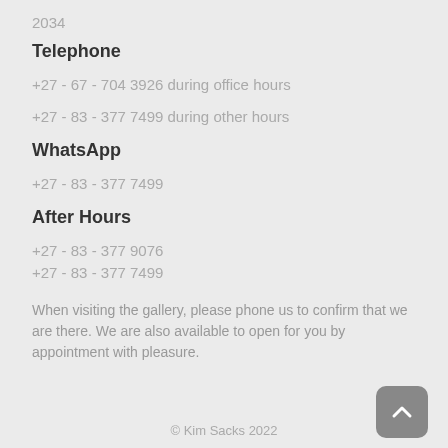2034
Telephone
+27 - 67 - 704 3926 during office hours
+27 - 83 - 377 7499 during other hours
WhatsApp
+27 - 83 - 377 7499
After Hours
+27 - 83 - 377 9076
+27 - 83 - 377 7499
When visiting the gallery, please phone us to confirm that we are there. We are also available to open for you by appointment with pleasure.
© Kim Sacks 2022